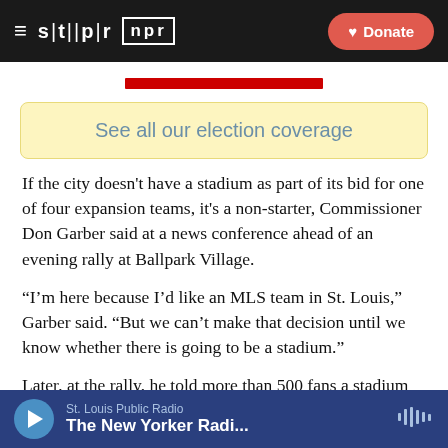STLPR | NPR — Donate
[Figure (other): Red banner partially visible at top of content area]
See all our election coverage
If the city doesn't have a stadium as part of its bid for one of four expansion teams, it's a non-starter, Commissioner Don Garber said at a news conference ahead of an evening rally at Ballpark Village.
“I’m here because I’d like an MLS team in St. Louis,” Garber said. “But we can’t make that decision until we know whether there is going to be a stadium.”
Later, at the rally, he told more than 500 fans a stadium
St. Louis Public Radio — The New Yorker Radi...